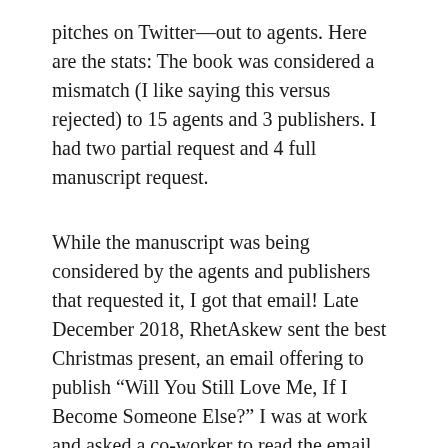pitches on Twitter—out to agents. Here are the stats: The book was considered a mismatch (I like saying this versus rejected) to 15 agents and 3 publishers. I had two partial request and 4 full manuscript request.
While the manuscript was being considered by the agents and publishers that requested it, I got that email! Late December 2018, RhetAskew sent the best Christmas present, an email offering to publish “Will You Still Love Me, If I Become Someone Else?” I was at work and asked a co-worker to read the email because I couldn’t believe it. Now, a year later, I’m only months away from a long time dream